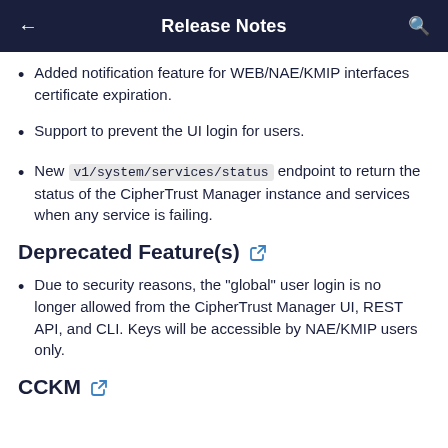Release Notes
Added notification feature for WEB/NAE/KMIP interfaces certificate expiration.
Support to prevent the UI login for users.
New v1/system/services/status endpoint to return the status of the CipherTrust Manager instance and services when any service is failing.
Deprecated Feature(s)
Due to security reasons, the "global" user login is no longer allowed from the CipherTrust Manager UI, REST API, and CLI. Keys will be accessible by NAE/KMIP users only.
CCKM